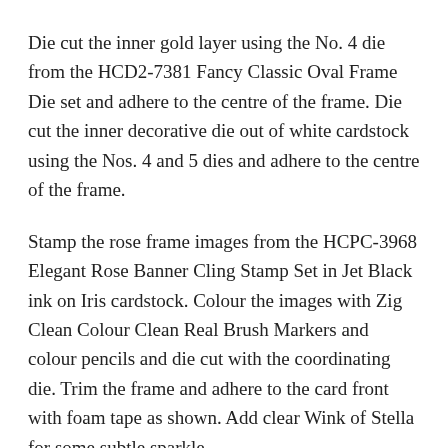Die cut the inner gold layer using the No. 4 die from the HCD2-7381 Fancy Classic Oval Frame Die set and adhere to the centre of the frame. Die cut the inner decorative die out of white cardstock using the Nos. 4 and 5 dies and adhere to the centre of the frame.
Stamp the rose frame images from the HCPC-3968 Elegant Rose Banner Cling Stamp Set in Jet Black ink on Iris cardstock. Colour the images with Zig Clean Colour Clean Real Brush Markers and colour pencils and die cut with the coordinating die. Trim the frame and adhere to the card front with foam tape as shown. Add clear Wink of Stella for some subtle sparkle.